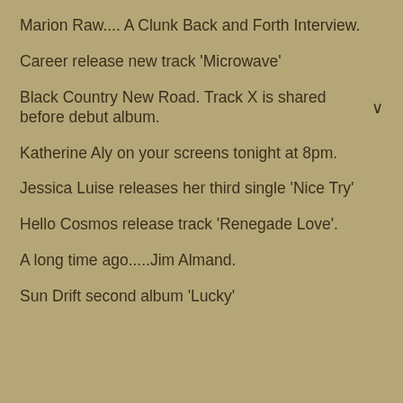Marion Raw.... A Clunk Back and Forth Interview.
Career release new track ‘Microwave’
Black Country New Road. Track X is shared before debut album.
Katherine Aly on your screens tonight at 8pm.
Jessica Luise releases her third single ‘Nice Try’
Hello Cosmos release track ‘Renegade Love’.
A long time ago.....Jim Almand.
Sun Drift second album ‘Lucky’